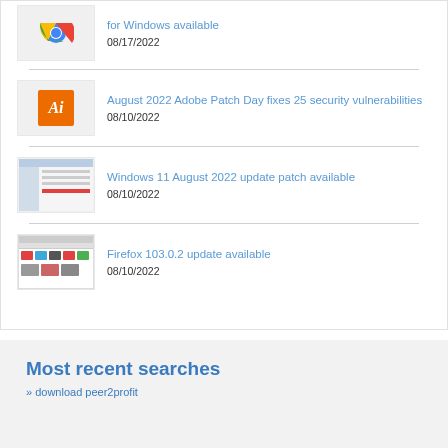[Figure (screenshot): Chrome browser logo icon]
for Windows available
08/17/2022
[Figure (logo): Adobe Illustrator logo (Ai on orange background)]
August 2022 Adobe Patch Day fixes 25 security vulnerabilities
08/10/2022
[Figure (screenshot): Windows Update settings screenshot]
Windows 11 August 2022 update patch available
08/10/2022
[Figure (screenshot): Firefox browser screenshot]
Firefox 103.0.2 update available
08/10/2022
Most recent searches
download peer2profit